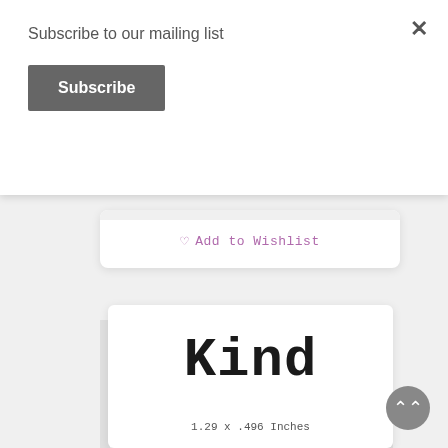Subscribe to our mailing list
Subscribe
×
♡ Add to Wishlist
[Figure (illustration): Product card showing the word 'Kind' in large bold typewriter/monospace font, with dimensions '1.29 x .496 Inches' below it on a white card background]
Kind
1.29 x .496 Inches